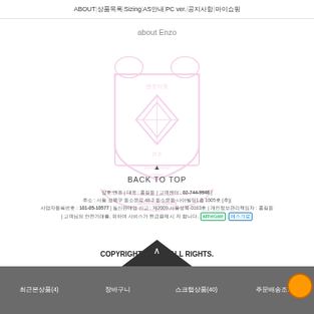ABOUT | 상품목록 | Sizing | AS안내 | PC ver. | 공지사항 | 마이쇼핑
[Figure (logo): Enzo brand crest/coat of arms watermark with diamond, decorative animals, shield, and ribbon with brand name]
about Enzo
▲ BACK TO TOP
상호:엔조 | 대표 : 홍길동 | 고객센터 : 02-744-9946 | 주소 : 서울 성북구 동소문로 48-2 동소문동 나아빌딩1층 1005호 (주)| 사업자등록번호 : 101-05-10577 | 통신판매업 신고 : 제2009-서울성북-0163호 | 개인정보관리책임자 : 홍길동 | 고객님의 안전거래를, 위하여 서비스가 현금결제 시 저 합니다.
COPYRIGHT(C) 엔조 ALL RIGHTS.
Design by ♥ skin
최근본상품(4) | 장바구니 | 스크랩상품(40) | 주문배송조회